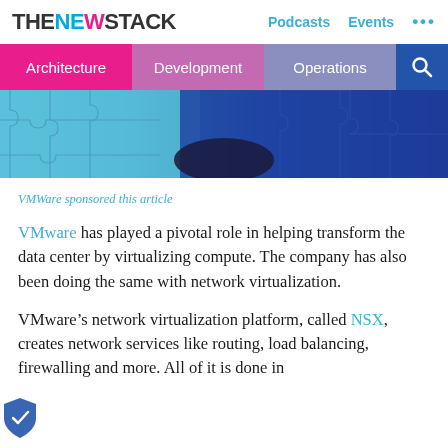THE NEW STACK  Podcasts  Events  ...
Architecture  Development  Operations
[Figure (illustration): Puzzle pieces in shades of blue forming a banner image with a dark oval shape in the center]
VMWare sponsored this article
VMware has played a pivotal role in helping transform the data center by virtualizing compute. The company has also been doing the same with network virtualization.
VMware’s network virtualization platform, called NSX, creates network services like routing, load balancing, firewalling and more. All of it is done in